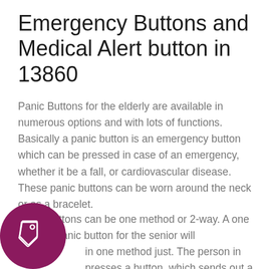Emergency Buttons and Medical Alert button in 13860
Panic Buttons for the elderly are available in numerous options and with lots of functions. Basically a panic button is an emergency button which can be pressed in case of an emergency, whether it be a fall, or cardiovascular disease. These panic buttons can be worn around the neck or as a bracelet.
Panic buttons can be one method or 2-way. A one method panic button for the senior will work in one method just. The person in need presses a button, which sends out a signal. Typically this will position an emergency
[Figure (illustration): Dark magenta/purple circle with a price tag icon (outline of a tag with a small circle) in white]